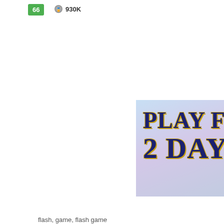[Figure (screenshot): Game listing entry showing level badge 66 and player count 930K]
[Figure (screenshot): Pagination controls showing back arrow, pages 1, 2, 3, 4 (partially visible)]
[Figure (illustration): Advertisement banner: PLAY FOR 2 DAYS with anime girl character]
flash, game, flash game
[Figure (logo): Armor Games logo with shield icon and text ARMOR GAMES on dark background]
DEV PORT
SUPPORT
PUBLISHI
Conduct Guidelines   © 2022 Ar